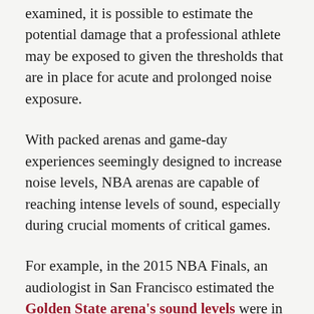examined, it is possible to estimate the potential damage that a professional athlete may be exposed to given the thresholds that are in place for acute and prolonged noise exposure.
With packed arenas and game-day experiences seemingly designed to increase noise levels, NBA arenas are capable of reaching intense levels of sound, especially during crucial moments of critical games.
For example, in the 2015 NBA Finals, an audiologist in San Francisco estimated the Golden State arena's sound levels were in the 100-120 db range. Levels as high as 100-120 db fall in the high end of the risk range and into the lower end of the injury range.